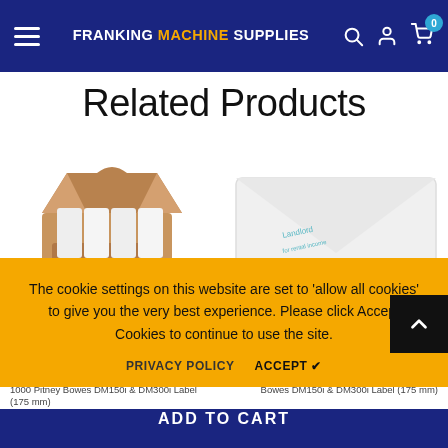FRANKING MACHINE SUPPLIES
Related Products
[Figure (photo): Brown cardboard box open at top with 'FRANKING MACHINE SUPPLIES' label, containing white paper roll]
[Figure (photo): White envelope with blue text/logo partially visible]
The cookie settings on this website are set to 'allow all cookies' to give you the very best experience. Please click Accept Cookies to continue to use the site.
PRIVACY POLICY   ACCEPT ✔
1000 Pitney Bowes DM150i & DM300i Label (175 mm) Bowes DM150i & DM300i Label (175 mm)
ADD TO CART